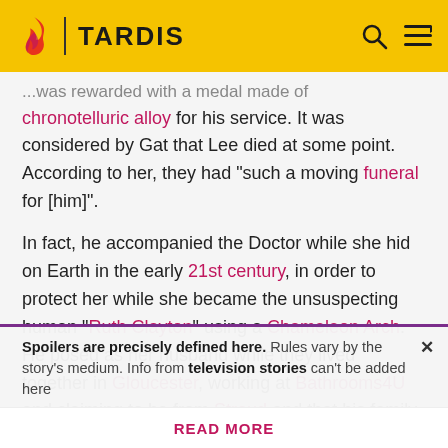TARDIS
...was rewarded with a medal made of chronotelluric alloy for his service. It was considered by Gat that Lee died at some point. According to her, they had "such a moving funeral for [him]".
In fact, he accompanied the Doctor while she hid on Earth in the early 21st century, in order to protect her while she became the unsuspecting human "Ruth Clayton" using a Chameleon Arch. He posed as her husband while they lived together in Gloucester, working at Bathrooms4U and claiming to be from Stroud and that his family is from
Spoilers are precisely defined here. Rules vary by the story's medium. Info from television stories can't be added here
READ MORE